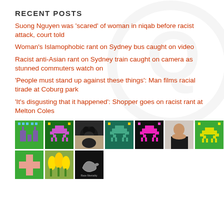RECENT POSTS
Suong Nguyen was 'scared' of woman in niqab before racist attack, court told
Woman's Islamophobic rant on Sydney bus caught on video
Racist anti-Asian rant on Sydney train caught on camera as stunned commuters watch on
'People must stand up against these things': Man films racial tirade at Coburg park
'It's disgusting that it happened': Shopper goes on racist rant at Melton Coles
[Figure (illustration): Grid of 10 thumbnail images including pixel art game sprites in green/purple/magenta/yellow, a black cat photo, a person photo, yellow tulips photo, and a dark logo image.]